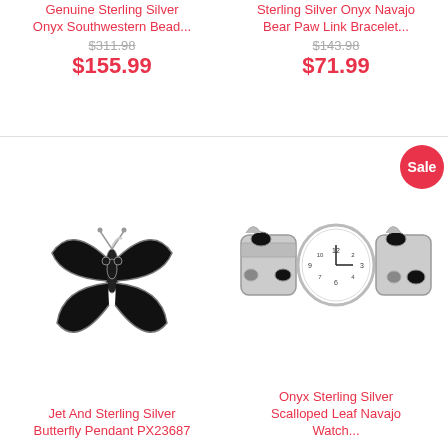Genuine Sterling Silver Onyx Southwestern Bead...
$311.98
$155.99
Sterling Silver Onyx Navajo Bear Paw Link Bracelet...
$143.98
$71.99
[Figure (photo): Jet and Sterling Silver Butterfly Pendant PX23687 - black butterfly shaped pendant with sterling silver accents]
Jet And Sterling Silver Butterfly Pendant PX23687
[Figure (photo): Onyx Sterling Silver Scalloped Leaf Navajo Watch with black onyx stones and white watch face, sterling silver bracelet band]
Onyx Sterling Silver Scalloped Leaf Navajo Watch...